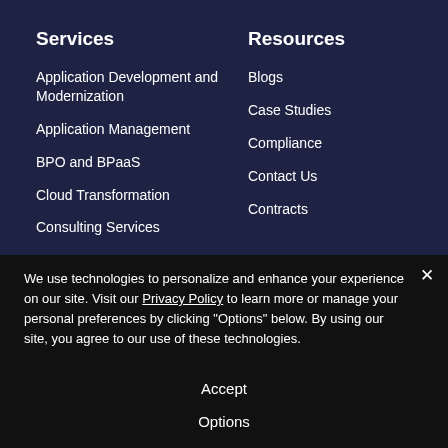Services
Application Development and Modernization
Application Management
BPO and BPaaS
Cloud Transformation
Consulting Services
Resources
Blogs
Case Studies
Compliance
Contact Us
Contracts
We use technologies to personalize and enhance your experience on our site. Visit our Privacy Policy to learn more or manage your personal preferences by clicking "Options" below. By using our site, you agree to our use of these technologies.
Accept
Options